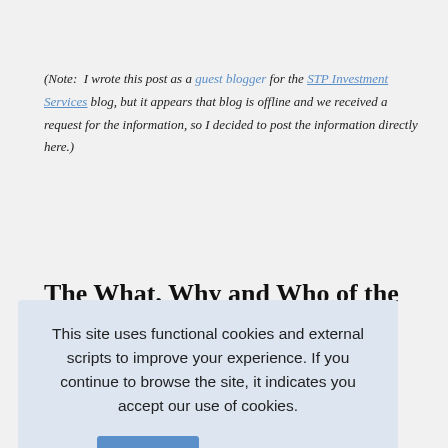(Note: I wrote this post as a guest blogger for the STP Investment Services blog, but it appears that blog is offline and we received a request for the information, so I decided to post the information directly here.)
The What, Why and Who of the GIPS
[Figure (screenshot): Cookie consent overlay: 'This site uses functional cookies and external scripts to improve your experience. If you continue to browse the site, it indicates you accept our use of cookies.' with Accept button and Privacy Policy link]
answers to the people ask with